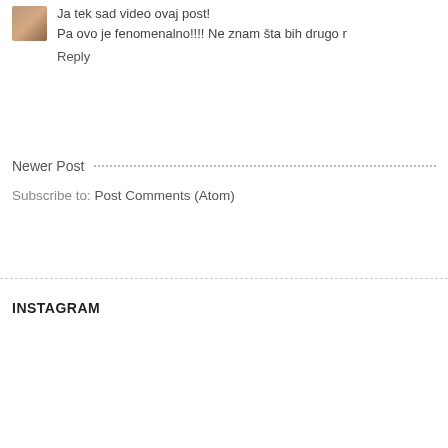Ja tek sad video ovaj post!
Pa ovo je fenomenalno!!!! Ne znam šta bih drugo r
Reply
Newer Post
Subscribe to: Post Comments (Atom)
INSTAGRAM